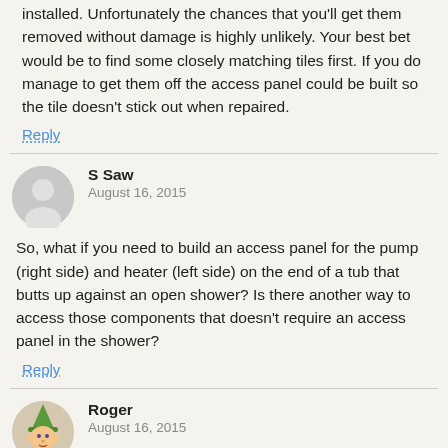installed. Unfortunately the chances that you'll get them removed without damage is highly unlikely. Your best bet would be to find some closely matching tiles first. If you do manage to get them off the access panel could be built so the tile doesn't stick out when repaired.
Reply
S Saw
August 16, 2015
So, what if you need to build an access panel for the pump (right side) and heater (left side) on the end of a tub that butts up against an open shower? Is there another way to access those components that doesn't require an access panel in the shower?
Reply
[Figure (illustration): Cartoon elf avatar for user Roger]
Roger
August 16, 2015
Hi S Saw,
Create access panels in the front of the tub deck